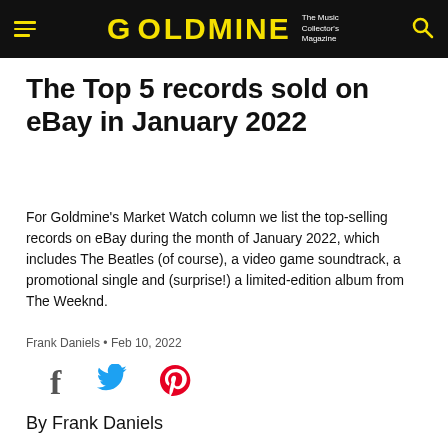GOLDMINE — The Music Collector's Magazine
The Top 5 records sold on eBay in January 2022
For Goldmine's Market Watch column we list the top-selling records on eBay during the month of January 2022, which includes The Beatles (of course), a video game soundtrack, a promotional single and (surprise!) a limited-edition album from The Weeknd.
Frank Daniels • Feb 10, 2022
[Figure (infographic): Social share icons: Facebook, Twitter, Pinterest]
By Frank Daniels